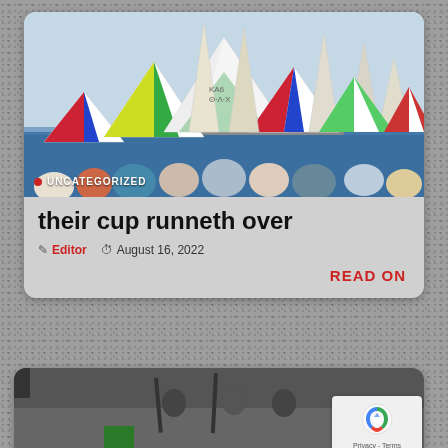[Figure (photo): Sailboat race with colorful spinnaker sails on open water, crowd watching from shore in foreground]
UNCATEGORIZED
their cup runneth over
Editor  August 16, 2022
READ ON
[Figure (photo): People on boat deck, second article card partially visible, with reCAPTCHA badge overlay]